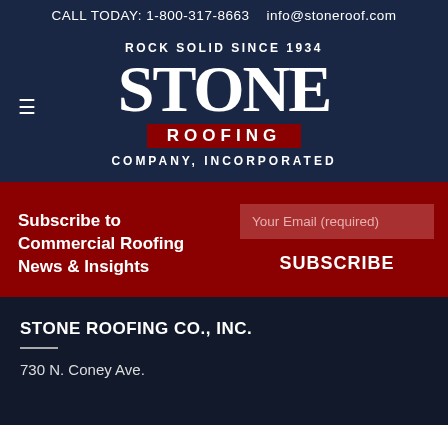CALL TODAY: 1-800-317-8663   info@stoneroof.com
[Figure (logo): Stone Roofing Company, Incorporated logo. Text: ROCK SOLID SINCE 1934, large STONE word, ROOFING bar, COMPANY, INCORPORATED]
Subscribe to Commercial Roofing News & Insights
Your Email (required)
SUBSCRIBE
STONE ROOFING CO., INC.
730 N. Coney Ave.